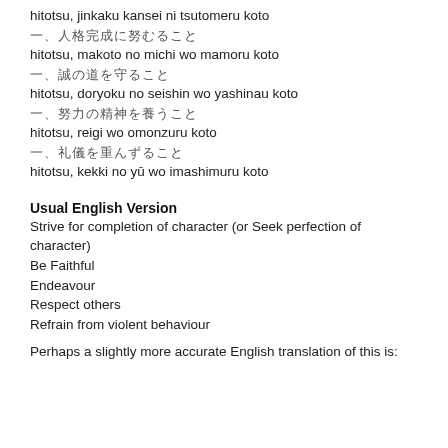hitotsu, jinkaku kansei ni tsutomeru koto
一、人格完成に努むること
hitotsu, makoto no michi wo mamoru koto
一、誠の道を守ること
hitotsu, doryoku no seishin wo yashinau koto
一、努力の精神を養うこと
hitotsu, reigi wo omonzuru koto
一、礼儀を重んずること
hitotsu, kekki no yū wo imashimuru koto
Usual English Version
Strive for completion of character (or Seek perfection of character)
Be Faithful
Endeavour
Respect others
Refrain from violent behaviour
Perhaps a slightly more accurate English translation of this is: